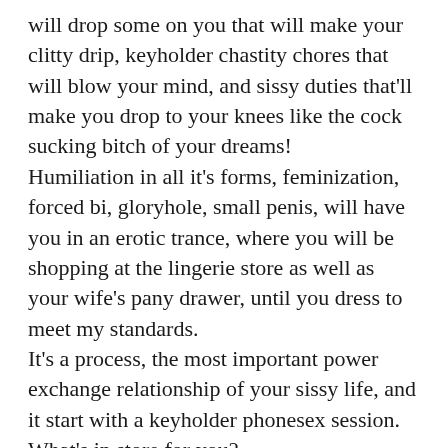will drop some on you that will make your clitty drip, keyholder chastity chores that will blow your mind, and sissy duties that'll make you drop to your knees like the cock sucking bitch of your dreams! Humiliation in all it's forms, feminization, forced bi, gloryhole, small penis, will have you in an erotic trance, where you will be shopping at the lingerie store as well as your wife's pany drawer, until you dress to meet my standards. It's a process, the most important power exchange relationship of your sissy life, and it start with a keyholder phonesex session. What's in store for you? Daily keyholder phonesex calls, daily tease and denial assignments, total control over your